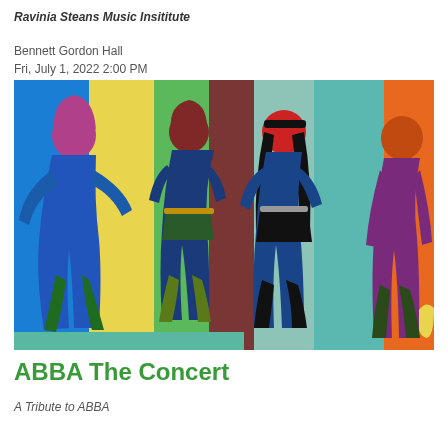Ravinia Steans Music Insititute
Bennett Gordon Hall
Fri, July 1, 2022 2:00 PM
[Figure (illustration): Colorful pop-art style illustration of four silhouetted figures (ABBA group members) against vertical striped background in yellow, green, teal, maroon, and teal colors. Figures are rendered in blue, red, dark navy, purple and orange tones.]
ABBA The Concert
A Tribute to ABBA